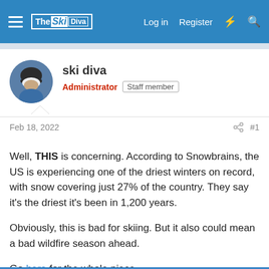The Ski Diva | Log in | Register
ski diva
Administrator | Staff member
Feb 18, 2022	#1
Well, THIS is concerning. According to Snowbrains, the US is experiencing one of the driest winters on record, with snow covering just 27% of the country. They say it's the driest it's been in 1,200 years.

Obviously, this is bad for skiing. But it also could mean a bad wildfire season ahead.

Go here for the whole piece.

(BTW, it's POURING here in Vermont right now. Which is also not good for skiing. 😣)